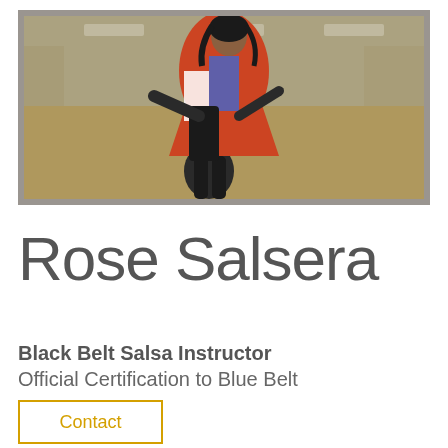[Figure (photo): Two dancers in a salsa dance pose in a studio or gym setting. One dancer is lifting the other. The image has a warm, slightly faded tone with beige and orange color accents.]
Rose Salsera
Black Belt Salsa Instructor
Official Certification to Blue Belt
Contact